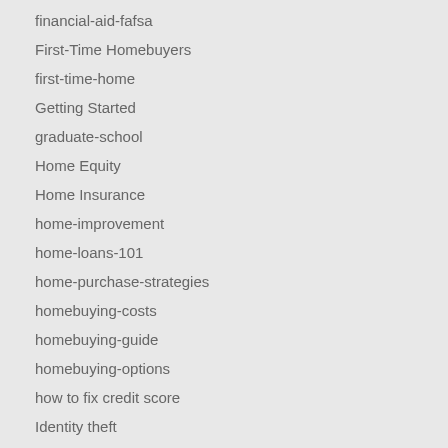financial-aid-fafsa
First-Time Homebuyers
first-time-home
Getting Started
graduate-school
Home Equity
Home Insurance
home-improvement
home-loans-101
home-purchase-strategies
homebuying-costs
homebuying-guide
homebuying-options
how to fix credit score
Identity theft
increase your credit score
Insurance
Investment
Know your Credit Score